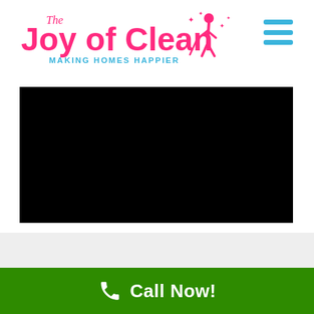[Figure (logo): The Joy of Clean logo with pink script 'The' above large pink bold text 'Joy of Clean' with a silhouette of a woman cleaning and sparkles, cyan tagline 'MAKING HOMES HAPPIER' below]
[Figure (other): Hamburger menu icon with three horizontal cyan/blue lines]
[Figure (other): Black video player area (video thumbnail/placeholder)]
[Figure (other): Green call-to-action bar with white phone icon and 'Call Now!' text]